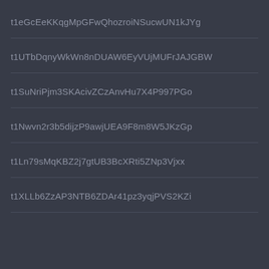t1eGcEeKKqgMpGFwQhozroiNSucwUN1kJYg
t1UTbDqnyWkWn8nDUAW6EyVUjMUFrJAJGBW
t1SuNriPjm3SKAcivZCzAnvHu7X4P997PGo
t1Nwvn2r3b5dijzP9awjUEA9F8m8W5JKzGp
t1Ln79sMqKBZ2j7gtUB3BcXRti5ZNp3Vjxx
t1XLLb6ZzAP3NTB6ZDAr41pz3yqjPVS2KZi